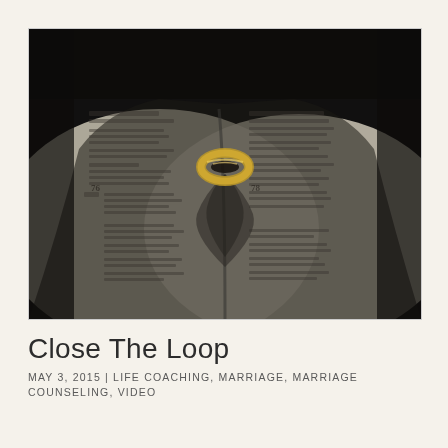[Figure (photo): A gold wedding ring resting on an open Bible/book, casting a heart-shaped shadow on the pages below. The image is dark/moody with the book pages visible on both sides.]
Close The Loop
MAY 3, 2015 | LIFE COACHING, MARRIAGE, MARRIAGE COUNSELING, VIDEO